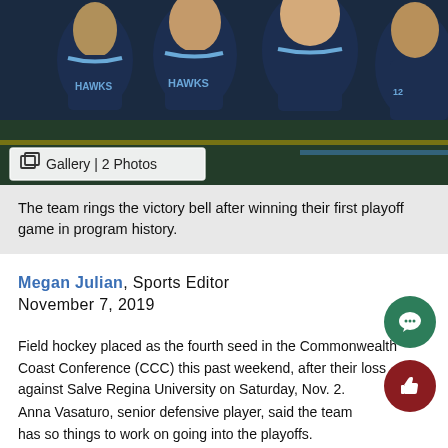[Figure (photo): Team of athletes in dark navy jerseys with 'HAWKS' text celebrating, ringing the victory bell after winning their first playoff game in program history.]
The team rings the victory bell after winning their first playoff game in program history.
Megan Julian, Sports Editor
November 7, 2019
Field hockey placed as the fourth seed in the Commonwealth Coast Conference (CCC) this past weekend, after their loss against Salve Regina University on Saturday, Nov. 2.
Anna Vasaturo, senior defensive player, said the team has so things to work on going into the playoffs.
“One thing we could work on before heading into the playoffs clearing our heads before each game and realizing playoffs is an